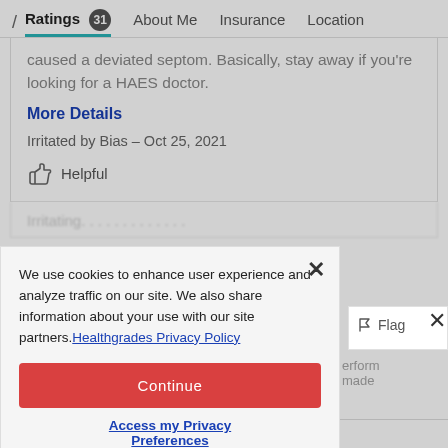/ Ratings 31  About Me  Insurance  Location
caused a deviated septom. Basically, stay away if you're looking for a HAES doctor.
More Details
Irritated by Bias – Oct 25, 2021
Helpful
We use cookies to enhance user experience and analyze traffic on our site. We also share information about your use with our site partners. Healthgrades Privacy Policy
Continue
Access my Privacy Preferences
Flag
me feel comfortable and confident in what